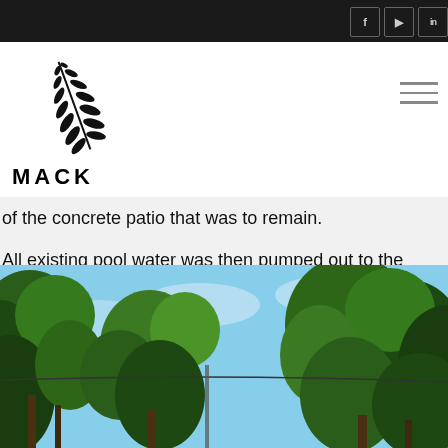[Figure (logo): Mack company logo with fern leaf and MACK text]
of the concrete patio that was to remain.
All existing pool water was then pumped out to the curb according to local regulations. Following this all electricity, gas etc. was safely disconnected.
As mentioned above, after using our low impact machinery to break up the concrete, it was removed off site and recycled.
[Figure (photo): Outdoor photo showing trees with green leaves against a blue sky, with a utility wire visible]